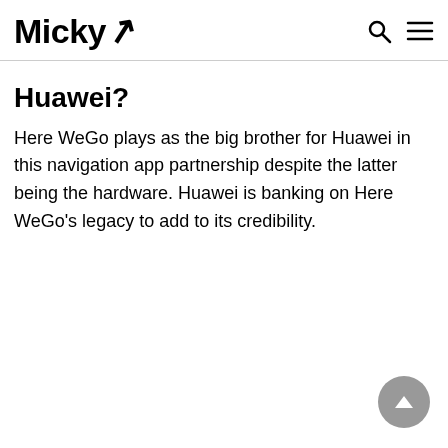Micky
Huawei?
Here WeGo plays as the big brother for Huawei in this navigation app partnership despite the latter being the hardware. Huawei is banking on Here WeGo's legacy to add to its credibility.